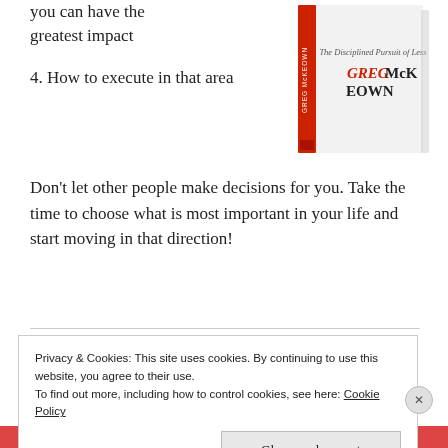you can have the greatest impact
[Figure (photo): Book cover of 'Essentialism: The Disciplined Pursuit of Less' by Greg McKeown — white cover with red spine, author name in handwritten red script]
4. How to execute in that area
Don't let other people make decisions for you. Take the time to choose what is most important in your life and start moving in that direction!
Privacy & Cookies: This site uses cookies. By continuing to use this website, you agree to their use.
To find out more, including how to control cookies, see here: Cookie Policy
Close and accept